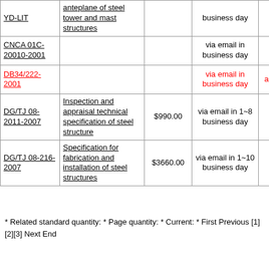| Standard No. | Title | Price | Delivery | Status | Action |
| --- | --- | --- | --- | --- | --- |
| YD-LIT | Anteplane of steel tower and mast structures |  | business day |  | Add to Cart |
| CNCA 01C-20010-2001 |  |  | via email in business day | valid | Add to Cart |
| DB34/222-2001 |  |  | via email in business day | abolished | Add to Cart |
| DG/TJ 08-2011-2007 | Inspection and appraisal technical specification of steel structure | $990.00 | via email in 1~8 business day | valid | Add to Cart |
| DG/TJ 08-216-2007 | Specification for fabrication and installation of steel structures | $3660.00 | via email in 1~10 business day | valid | Add to Cart |
* Related standard quantity: * Page quantity: * Current: * First Previous [1][2][3] Next End